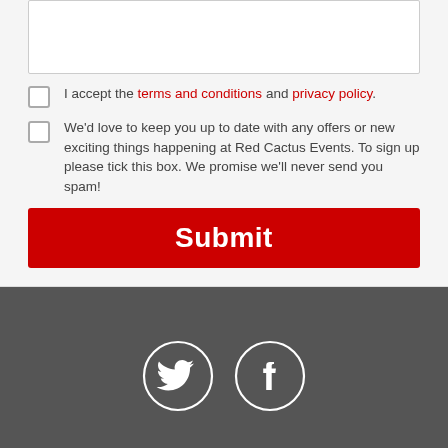I accept the terms and conditions and privacy policy.
We'd love to keep you up to date with any offers or new exciting things happening at Red Cactus Events. To sign up please tick this box. We promise we'll never send you spam!
Submit
[Figure (illustration): Twitter and Facebook social media icons as white outlines inside grey circles on dark grey background]
Enquire Now
Chat